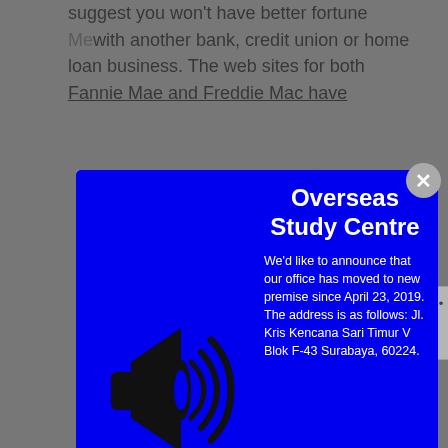suggest you won't have better fortune with another bank, credit union or home loan business. The web sites for both Fannie Mae and Freddie Mac have a... a... s... h... r... y...
[Figure (infographic): Blue popup modal for Overseas Study Centre showing a megaphone icon on the left, heading 'Overseas Study Centre', announcement text about office move, contact info, and website URL www.oscindo.co.id. A grey close (X) button appears in the top-right corner of the modal.]
East Java - Indonesia
Whatsapp: +6281359530880, +628165424106.
www.oscindo.co.id
New Web based On-line casinos 100 % 2020 Guidelines • NewCasinos.com »
Translate »